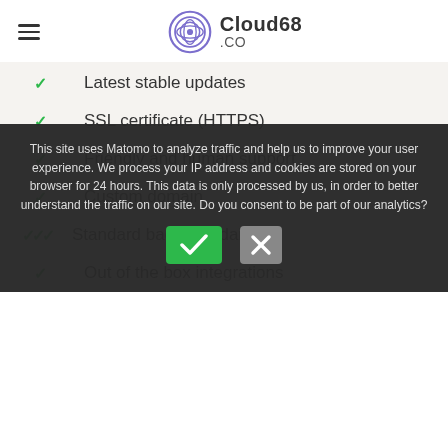Cloud68 .CO
Latest stable updates
SSL certificate (HTTPS)
Friendly and human support
Custom domain
Standard backups (daily)
Out of the box integrations
This site uses Matomo to analyze traffic and help us to improve your user experience. We process your IP address and cookies are stored on your browser for 24 hours. This data is only processed by us, in order to better understand the traffic on our site. Do you consent to be part of our analytics?